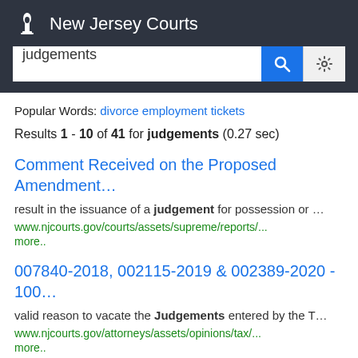[Figure (logo): New Jersey Courts logo with torch/scales icon and white text on dark background, with search bar below containing 'judgements']
Popular Words: divorce employment tickets
Results 1 - 10 of 41 for judgements (0.27 sec)
Comment Received on the Proposed Amendment...
result in the issuance of a judgement for possession or ...
www.njcourts.gov/courts/assets/supreme/reports/...
more..
007840-2018, 002115-2019 & 002389-2020 - 100...
valid reason to vacate the Judgements entered by the T...
www.njcourts.gov/attorneys/assets/opinions/tax/...
more..